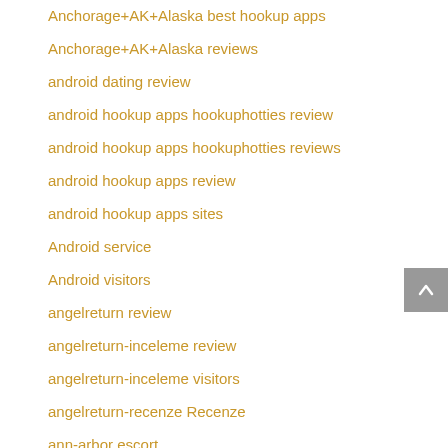Anchorage+AK+Alaska best hookup apps
Anchorage+AK+Alaska reviews
android dating review
android hookup apps hookuphotties review
android hookup apps hookuphotties reviews
android hookup apps review
android hookup apps sites
Android service
Android visitors
angelreturn review
angelreturn-inceleme review
angelreturn-inceleme visitors
angelreturn-recenze Recenze
ann-arbor escort
anotherdating.com review